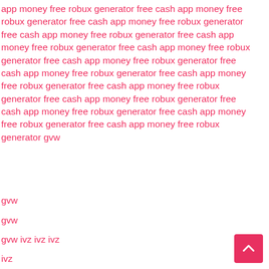app money free robux generator free cash app money free robux generator free cash app money free robux generator free cash app money free robux generator free cash app money free robux generator free cash app money free robux generator free cash app money free robux generator free cash app money free robux generator free cash app money free robux generator free cash app money free robux generator free cash app money free robux generator free cash app money free robux generator free cash app money free robux generator free cash app money free robux generator gvw
gvw
gvw
gvw ivz ivz ivz
ivz